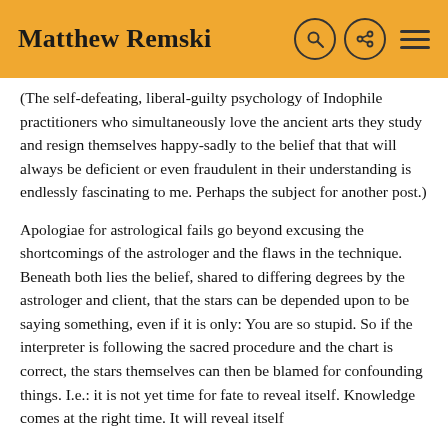Matthew Remski
(The self-defeating, liberal-guilty psychology of Indophile practitioners who simultaneously love the ancient arts they study and resign themselves happy-sadly to the belief that that will always be deficient or even fraudulent in their understanding is endlessly fascinating to me. Perhaps the subject for another post.)
Apologiae for astrological fails go beyond excusing the shortcomings of the astrologer and the flaws in the technique. Beneath both lies the belief, shared to differing degrees by the astrologer and client, that the stars can be depended upon to be saying something, even if it is only: You are so stupid. So if the interpreter is following the sacred procedure and the chart is correct, the stars themselves can then be blamed for confounding things. I.e.: it is not yet time for fate to reveal itself. Knowledge comes at the right time. It will reveal itself